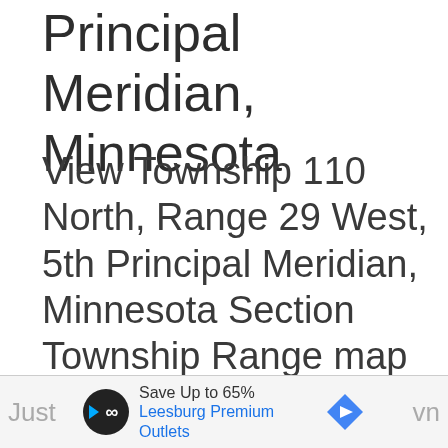Principal Meridian, Minnesota
View Township 110 North, Range 29 West, 5th Principal Meridian, Minnesota Section Township Range map on Google Maps • Free township and range locator searches by address, place or reverse find by land parcel description.
[Figure (other): Advertisement banner: Save Up to 65% at Leesburg Premium Outlets with play/infinity logo and navigation arrow icon]